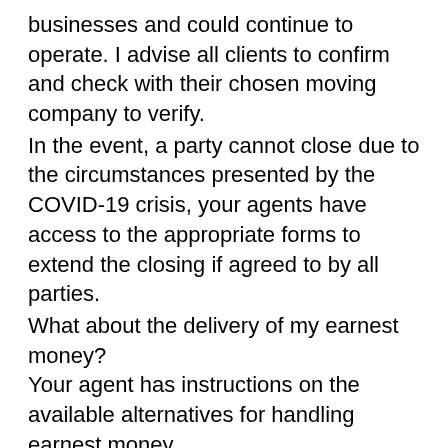businesses and could continue to operate. I advise all clients to confirm and check with their chosen moving company to verify.
In the event, a party cannot close due to the circumstances presented by the COVID-19 crisis, your agents have access to the appropriate forms to extend the closing if agreed to by all parties.
What about the delivery of my earnest money?
Your agent has instructions on the available alternatives for handling earnest money.
What else do I need to be aware of?
Do not click on any suspicious links or messages purporting to help you in this crisis from sources that you do not know. Hackers are already attempting to exploit this crisis to take advantage